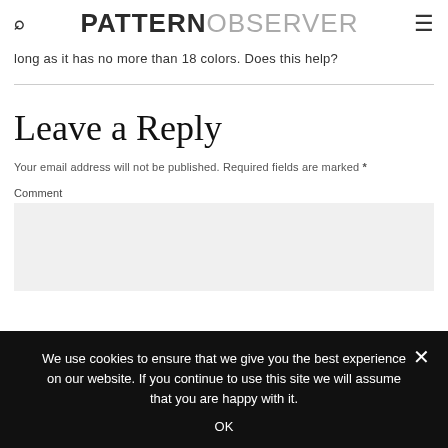PATTERN OBSERVER
long as it has no more than 18 colors. Does this help?
Leave a Reply
Your email address will not be published. Required fields are marked *
Comment
We use cookies to ensure that we give you the best experience on our website. If you continue to use this site we will assume that you are happy with it.
OK